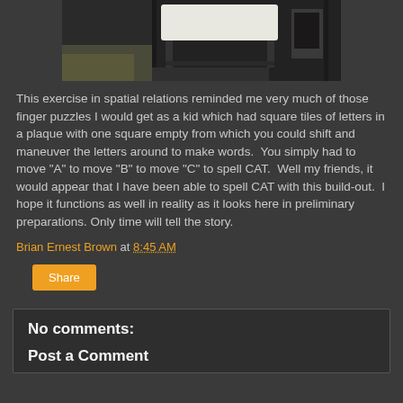[Figure (photo): Photo of outdoor furniture setup, showing a white cushioned chair/ottoman with dark frame, positioned near what appears to be a vehicle or trailer interior, outdoors with foliage visible in background.]
This exercise in spatial relations reminded me very much of those finger puzzles I would get as a kid which had square tiles of letters in a plaque with one square empty from which you could shift and maneuver the letters around to make words. You simply had to move "A" to move "B" to move "C" to spell CAT. Well my friends, it would appear that I have been able to spell CAT with this build-out. I hope it functions as well in reality as it looks here in preliminary preparations. Only time will tell the story.
Brian Ernest Brown at 8:45 AM
Share
No comments:
Post a Comment